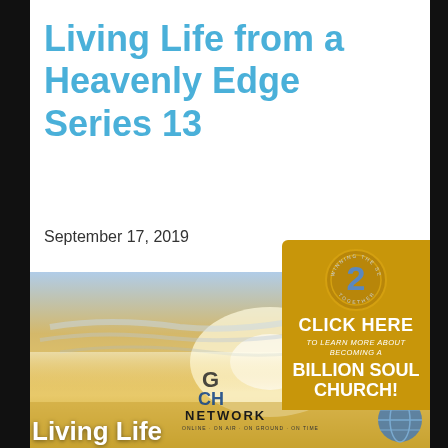Living Life from a Heavenly Edge Series 13
September 17, 2019
[Figure (illustration): A serene sky image with golden and blue hues, overlaid with Global Church Network logo and 'Living Life / A Heaven...' text. Includes a promotional badge overlay for 'CLICK HERE TO LEARN MORE ABOUT BECOMING A BILLION SOUL CHURCH!']